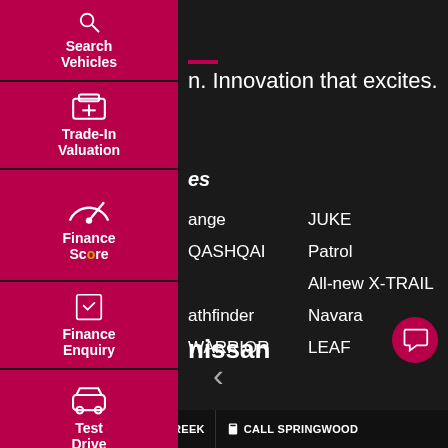[Figure (screenshot): Nissan dealership website navigation sidebar with icons for Search Vehicles, Trade-In Valuation, Finance Score, Finance Enquiry, Test Drive, and Click To Buy. All icons on a crimson/red background.]
n. Innovation that excites.
es
ange — JUKE
QASHQAI — Patrol
All-new X-TRAIL
athfinder — Navara
WARRIOR — LEAF
nissan
CREEK   CALL SLACKS CREEK   CALL SPRINGWOOD